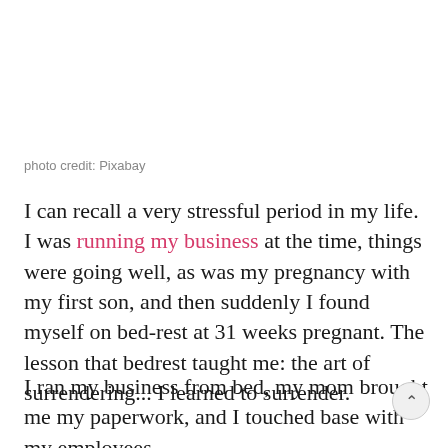photo credit: Pixabay
I can recall a very stressful period in my life. I was running my business at the time, things were going well, as was my pregnancy with my first son, and then suddenly I found myself on bed-rest at 31 weeks pregnant. The lesson that bedrest taught me: the art of surrendering... I learned to surrender.
I ran my business from bed, my mom brought me my paperwork, and I touched base with my employees to keep on top of their sales opportunities. I left my